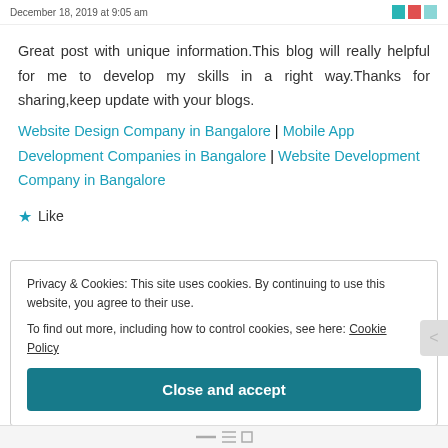December 18, 2019 at 9:05 am
Great post with unique information.This blog will really helpful for me to develop my skills in a right way.Thanks for sharing,keep update with your blogs.
Website Design Company in Bangalore | Mobile App Development Companies in Bangalore | Website Development Company in Bangalore
★ Like
Privacy & Cookies: This site uses cookies. By continuing to use this website, you agree to their use.
To find out more, including how to control cookies, see here: Cookie Policy
Close and accept